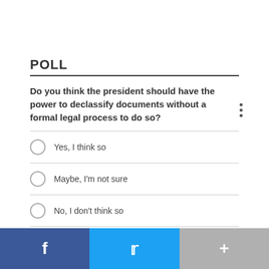POLL
Do you think the president should have the power to declassify documents without a formal legal process to do so?
Yes, I think so
Maybe, I'm not sure
No, I don't think so
Other / No opinion